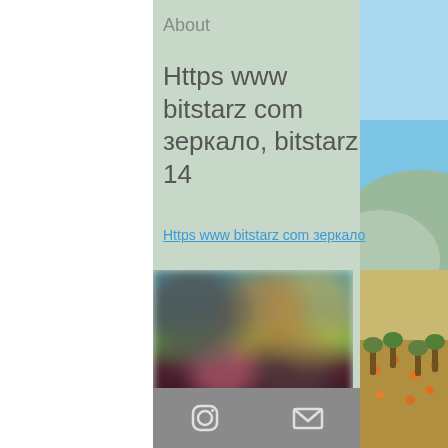About
Https www bitstarz com зеркало, bitstarz 14
Https www bitstarz com зеркало
[Figure (screenshot): Blurred screenshot of a website or application interface showing colorful panels with figures]
[Figure (photo): Outdoor scenic photo showing blue sky, hills, and orange trees on the right side of the page]
Instagram icon and email icon in a grey footer bar